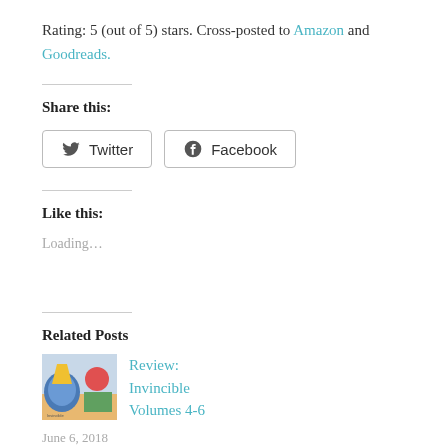Rating: 5 (out of 5) stars. Cross-posted to Amazon and Goodreads.
Share this:
[Figure (other): Twitter and Facebook share buttons]
Like this:
Loading…
Related Posts
[Figure (illustration): Thumbnail image for Review: Invincible Volumes 4-6]
Review: Invincible Volumes 4-6
June 6, 2018
In "book review"